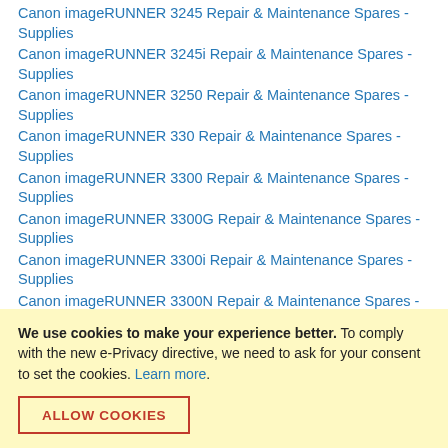Canon imageRUNNER 3245 Repair & Maintenance Spares - Supplies
Canon imageRUNNER 3245i Repair & Maintenance Spares - Supplies
Canon imageRUNNER 3250 Repair & Maintenance Spares - Supplies
Canon imageRUNNER 330 Repair & Maintenance Spares - Supplies
Canon imageRUNNER 3300 Repair & Maintenance Spares - Supplies
Canon imageRUNNER 3300G Repair & Maintenance Spares - Supplies
Canon imageRUNNER 3300i Repair & Maintenance Spares - Supplies
Canon imageRUNNER 3300N Repair & Maintenance Spares - Supplies
Canon imageRUNNER 330E Repair & Maintenance Spares -
We use cookies to make your experience better. To comply with the new e-Privacy directive, we need to ask for your consent to set the cookies. Learn more.